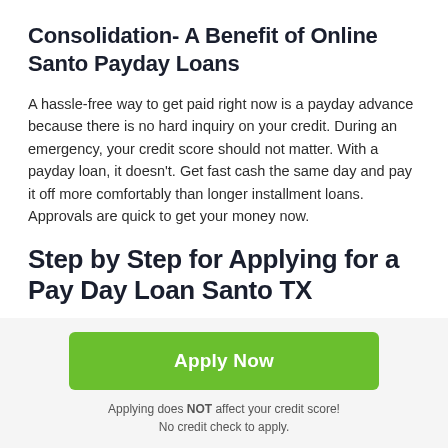Consolidation- A Benefit of Online Santo Payday Loans
A hassle-free way to get paid right now is a payday advance because there is no hard inquiry on your credit. During an emergency, your credit score should not matter. With a payday loan, it doesn't. Get fast cash the same day and pay it off more comfortably than longer installment loans. Approvals are quick to get your money now.
Step by Step for Applying for a Pay Day Loan Santo TX
Apply Now
Applying does NOT affect your credit score!
No credit check to apply.